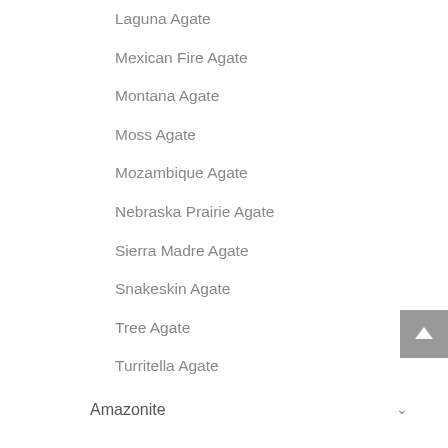Laguna Agate
Mexican Fire Agate
Montana Agate
Moss Agate
Mozambique Agate
Nebraska Prairie Agate
Sierra Madre Agate
Snakeskin Agate
Tree Agate
Turritella Agate
Amazonite
Amber
Amethyst